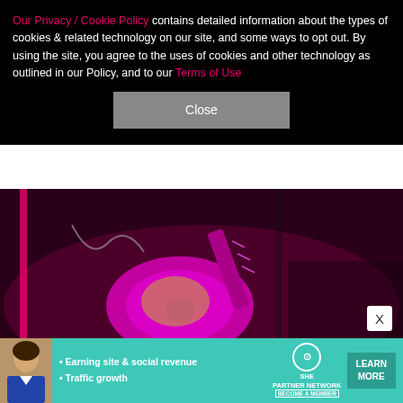Our Privacy / Cookie Policy contains detailed information about the types of cookies & related technology on our site, and some ways to opt out. By using the site, you agree to the uses of cookies and other technology as outlined in our Policy, and to our Terms of Use
Close
[Figure (photo): Person playing a bright pink/magenta electric guitar on stage with dark moody pink lighting, tattoos visible on hand.]
16/75   CHELSEA LAUREN/SHUTTERSTOCK
Machine Gun Kelly performs at the Shrine Auditorium in Los Angeles on Oct. 20, 2021.
[Figure (infographic): SHE Media Partner Network advertisement banner with a woman, text 'Earning site & social revenue', 'Traffic growth', SHE logo, and 'LEARN MORE' button.]